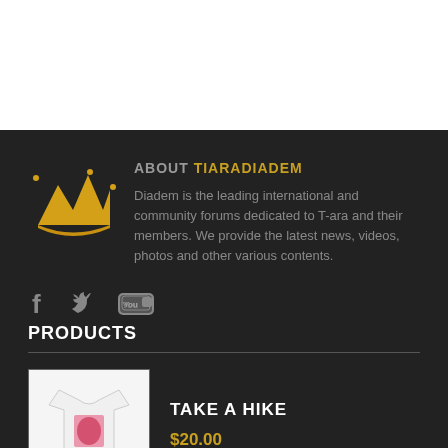ABOUT TIARADIADEM
Diadem is the leading international and community forums dedicated to T-ara and their members. We provide the latest news, videos, photos and other various contents.
[Figure (illustration): Social media icons: Facebook (f), Twitter (bird), YouTube (tube logo)]
PRODUCTS
[Figure (photo): White t-shirt with pink graphic print]
TAKE A HIKE
$20.00